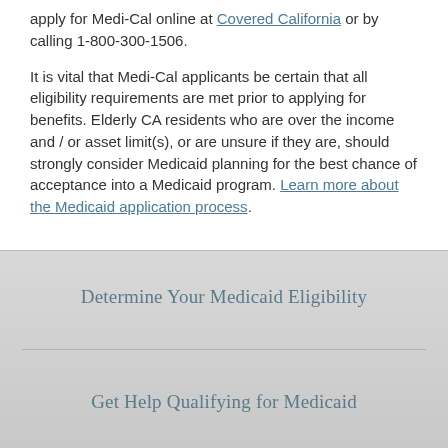apply for Medi-Cal online at Covered California or by calling 1-800-300-1506.
It is vital that Medi-Cal applicants be certain that all eligibility requirements are met prior to applying for benefits. Elderly CA residents who are over the income and / or asset limit(s), or are unsure if they are, should strongly consider Medicaid planning for the best chance of acceptance into a Medicaid program. Learn more about the Medicaid application process.
Determine Your Medicaid Eligibility
Get Help Qualifying for Medicaid